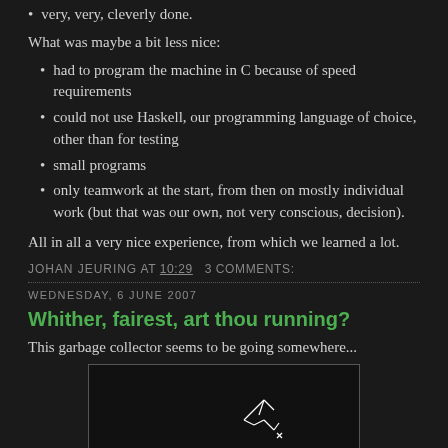very, very, cleverly done.
What was maybe a bit less nice:
had to program the machine in C because of speed requirements
could not use Haskell, our programming language of choice, other than for testing
small programs
only teamwork at the start, from then on mostly individual work (but that was our own, not very conscious, decision).
All in all a very nice experience, from which we learned a lot.
JOHAN JEURING AT 10:29  3 COMMENTS:
WEDNESDAY, 6 JUNE 2007
Whither, fairest, art thou running?
This garbage collector seems to be going somewhere...
[Figure (illustration): Dark image with a small hand-drawn or graph-like sketch in white lines on black background]